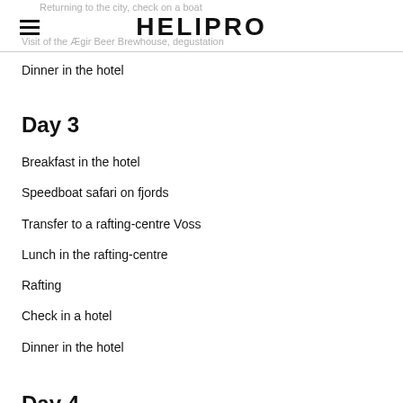Returning to the city, check on a boat | HELIPRO | Visit of the Ægir Beer Brewhouse, degustation
Dinner in the hotel
Day 3
Breakfast in the hotel
Speedboat safari on fjords
Transfer to a rafting-centre Voss
Lunch in the rafting-centre
Rafting
Check in a hotel
Dinner in the hotel
Day 4